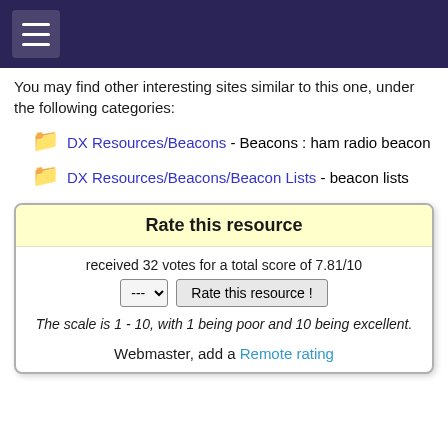≡
You may find other interesting sites similar to this one, under the following categories:
📁 DX Resources/Beacons - Beacons : ham radio beacon
📁 DX Resources/Beacons/Beacon Lists - beacon lists
Rate this resource
received 32 votes for a total score of 7.81/10
--- Rate this resource !
The scale is 1 - 10, with 1 being poor and 10 being excellent.
Webmaster, add a Remote rating